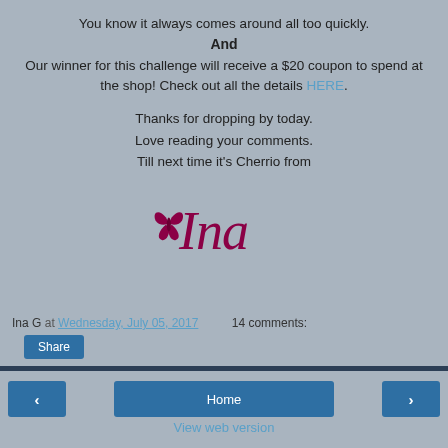You know it always comes around all too quickly.
And
Our winner for this challenge will receive a $20 coupon to spend at the shop! Check out all the details HERE.
Thanks for dropping by today.
Love reading your comments.
Till next time it's Cherrio from
[Figure (illustration): Decorative cursive signature 'Ina' with a small butterfly icon in dark magenta/crimson color]
Ina G at Wednesday, July 05, 2017   14 comments:
Share
< Home > View web version